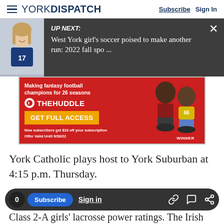YORK DISPATCH | Subscribe  Sign In
[Figure (screenshot): UP NEXT: West York girl's soccer poised to make another run: 2022 fall spo ... — dark overlay with girl soccer player photo thumbnail]
[Figure (advertisement): The Huddle fantasy football ad — Making fantasy football champions for 26 seasons. GET FULL ACCESS. New subscribers get $10 off your subscription. Offer Valid Until 9/30/22. Shows two bobblehead figures, one labeled WINNER.]
York Catholic plays host to York Suburban at 4:15 p.m. Thursday.
Class 2-A girls' lacrosse power ratings. The Irish